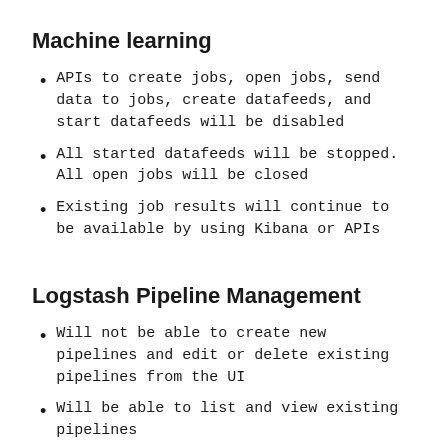Machine learning
APIs to create jobs, open jobs, send data to jobs, create datafeeds, and start datafeeds will be disabled
All started datafeeds will be stopped. All open jobs will be closed
Existing job results will continue to be available by using Kibana or APIs
Logstash Pipeline Management
Will not be able to create new pipelines and edit or delete existing pipelines from the UI
Will be able to list and view existing pipelines